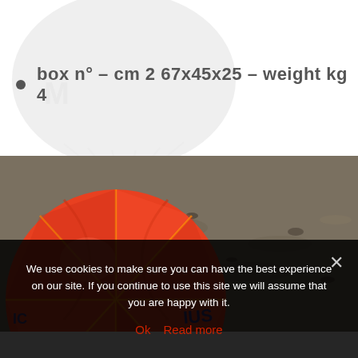box n° – cm 2 67x45x25 – weight kg 4
[Figure (photo): Close-up photo of an orange/red beach soccer ball with geometric panel pattern resting on dark sandy beach ground.]
We use cookies to make sure you can have the best experience on our site. If you continue to use this site we will assume that you are happy with it.
Ok  Read more